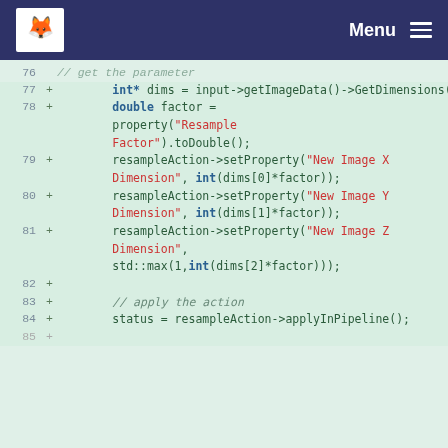Menu
[Figure (screenshot): Code diff view showing C++ code lines 77-85 with line numbers and '+' markers on a light green background. Lines show getImageDimensions, setProperty calls with string arguments 'Resample Factor', 'New Image X Dimension', 'New Image Y Dimension', 'New Image Z Dimension', and applyInPipeline().]